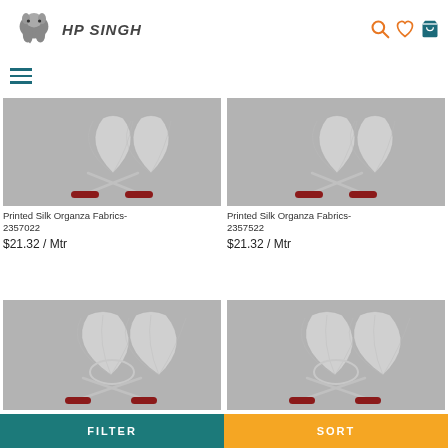HP SINGH
[Figure (logo): HP Singh brand logo with elephant head icon]
[Figure (illustration): Product image placeholder with HP Singh watermark - Printed Silk Organza Fabrics-2357022]
Printed Silk Organza Fabrics-2357022
$21.32 / Mtr
[Figure (illustration): Product image placeholder with HP Singh watermark - Printed Silk Organza Fabrics-2357522]
Printed Silk Organza Fabrics-2357522
$21.32 / Mtr
[Figure (illustration): Product image placeholder with HP Singh watermark - third product]
[Figure (illustration): Product image placeholder with HP Singh watermark - fourth product]